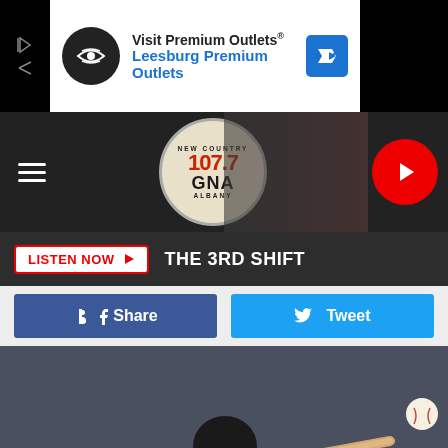[Figure (screenshot): Advertisement banner for Visit Premium Outlets / Leesburg Premium Outlets]
[Figure (logo): 107.7 GNA New Country Albany radio station logo and header navigation bar with hamburger menu and play button]
LISTEN NOW ▶  THE 3RD SHIFT
[Figure (screenshot): Share and Tweet social media buttons row]
[Figure (photo): Baseball player in New York Yankees pinstripe uniform swinging a bat, with Tampa Bay Rays players visible in background dugout area]
[Figure (screenshot): Advertisement banner: WITH YOU ALL THE WAY! Emergency Roadside Assistance, Discounts, Travel, Insurance and More! CLICK HERE]